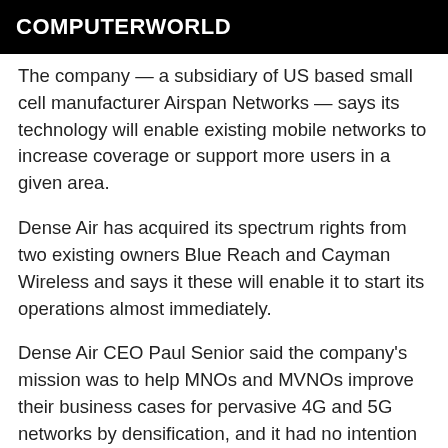COMPUTERWORLD
The company — a subsidiary of US based small cell manufacturer Airspan Networks — says its technology will enable existing mobile networks to increase coverage or support more users in a given area.
Dense Air has acquired its spectrum rights from two existing owners Blue Reach and Cayman Wireless and says it these will enable it to start its operations almost immediately.
Dense Air CEO Paul Senior said the company's mission was to help MNOs and MVNOs improve their business cases for pervasive 4G and 5G networks by densification, and it had no intention to compete at either the retail or wholesale level.